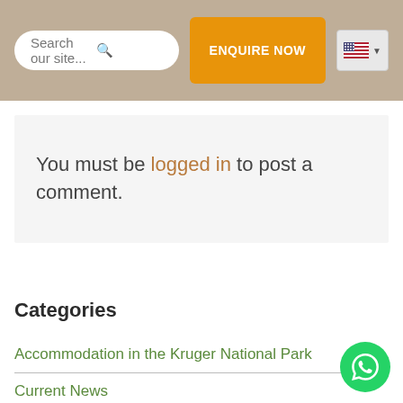Search our site... [search icon] | ENQUIRE NOW | [US flag dropdown]
You must be logged in to post a comment.
Categories
Accommodation in the Kruger National Park
Current News